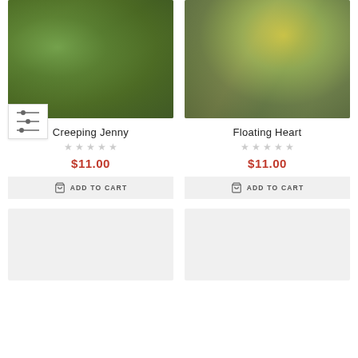[Figure (photo): Creeping Jenny plant with dense green round leaves covering the ground]
[Figure (photo): Floating Heart aquatic plant with yellow flower and lily pads near water]
Creeping Jenny
★★★★★ (empty stars rating)
$11.00
ADD TO CART
Floating Heart
★★★★★ (empty stars rating)
$11.00
ADD TO CART
[Figure (photo): Placeholder image area (light gray, no content visible)]
[Figure (photo): Placeholder image area (light gray, no content visible)]